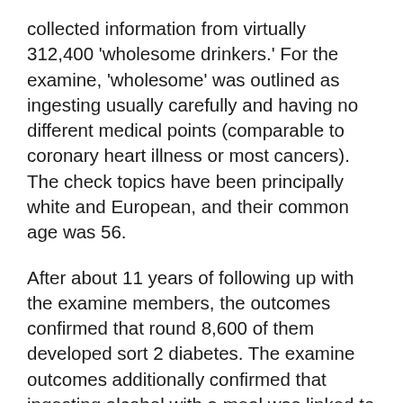collected information from virtually 312,400 'wholesome drinkers.' For the examine, 'wholesome' was outlined as ingesting usually carefully and having no different medical points (comparable to coronary heart illness or most cancers). The check topics have been principally white and European, and their common age was 56.
After about 11 years of following up with the examine members, the outcomes confirmed that round 8,600 of them developed sort 2 diabetes. The examine outcomes additionally confirmed that ingesting alcohol with a meal was linked to a 14 % decrease danger of growing sort 2 diabetes, versus ingesting alcohol with out meals. The examine additionally confirmed that whiles ingesting reasonably with meals lowered danger, the profit was most obvious for individuals who drank wine with their meals versus different varieties of alcohol.